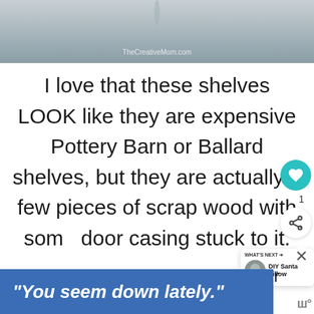[Figure (photo): Partial photo at top of page, gray background with watermark 'TheCreativeMom.com']
I love that these shelves LOOK like they are expensive Pottery Barn or Ballard shelves, but they are actually a few pieces of scrap wood with some door casing stuck to it.
Here's a little peek at my shelves for
"You seem down lately."